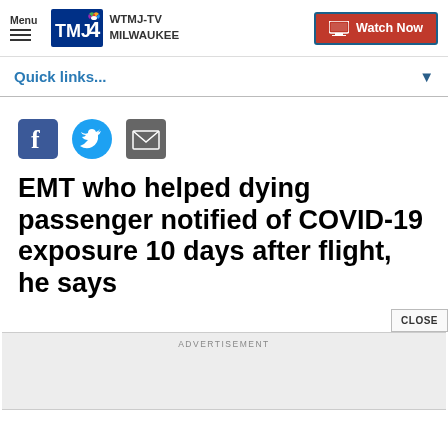Menu | WTMJ-TV MILWAUKEE | Watch Now
Quick links...
[Figure (other): Social share icons: Facebook, Twitter, Email]
EMT who helped dying passenger notified of COVID-19 exposure 10 days after flight, he says
ADVERTISEMENT